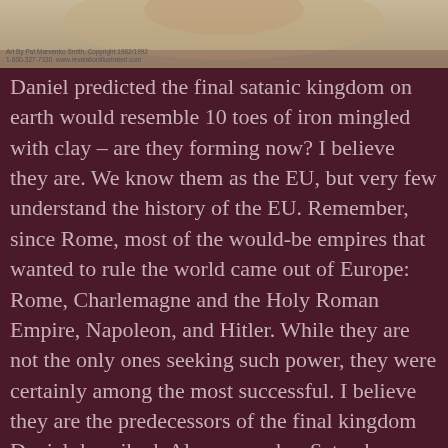[Figure (photo): A photograph, partially visible at the top of the page, appearing to show a person or figure with a light/beige background. A small copyright caption is visible at the bottom left of the image.]
Art By Pat Marvenko Smith, Copyright 1982/1992
1-800-327-7330  www.revelationillustrated.com
Daniel predicted the final satanic kingdom on earth would resemble 10 toes of iron mingled with clay – are they forming now? I believe they are. We know them as the EU, but very few understand the history of the EU. Remember, since Rome, most of the would-be empires that wanted to rule the world came out of Europe: Rome, Charlemagne and the Holy Roman Empire, Napoleon, and Hitler. While they are not the only ones seeking such power, they were certainly among the most successful. I believe they are the predecessors of the final kingdom Daniel described. Also remember Satan knows few things influence man more than money and religion, and his final kingdom will be a mixture of them both. The EU is built on both. It is why John describes this final kingdom as the False Harlot (the false church) riding the Beast in Revelation 17:3. / Daniel further